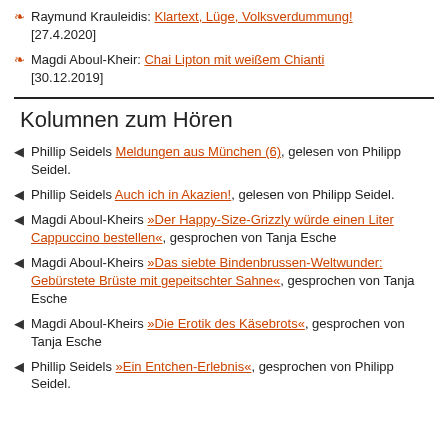Raymund Krauleidis: Klartext, Lüge, Volksverdummung! [27.4.2020]
Magdi Aboul-Kheir: Chai Lipton mit weißem Chianti [30.12.2019]
Kolumnen zum Hören
Phillip Seidels Meldungen aus München (6), gelesen von Philipp Seidel.
Phillip Seidels Auch ich in Akazien!, gelesen von Philipp Seidel.
Magdi Aboul-Keirs »Der Happy-Size-Grizzly würde einen Liter Cappuccino bestellen«, gesprochen von Tanja Esche
Magdi Aboul-Keirs »Das siebte Bindenbrussen-Weltwunder: Gebürstete Brüste mit gepeitschter Sahne«, gesprochen von Tanja Esche
Magdi Aboul-Keirs »Die Erotik des Käsebrots«, gesprochen von Tanja Esche
Phillip Seidels »Ein Entchen-Erlebnis«, gesprochen von Philipp Seidel.